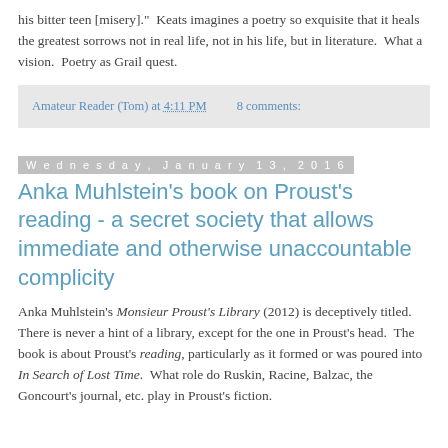his bitter teen [misery]."  Keats imagines a poetry so exquisite that it heals the greatest sorrows not in real life, not in his life, but in literature.  What a vision.  Poetry as Grail quest.
Amateur Reader (Tom) at 4:11 PM    8 comments:
Wednesday, January 13, 2016
Anka Muhlstein's book on Proust's reading - a secret society that allows immediate and otherwise unaccountable complicity
Anka Muhlstein's Monsieur Proust's Library (2012) is deceptively titled.  There is never a hint of a library, except for the one in Proust's head.  The book is about Proust's reading, particularly as it formed or was poured into In Search of Lost Time.  What role do Ruskin, Racine, Balzac, the Goncourt's journal, etc. play in Proust's fiction.